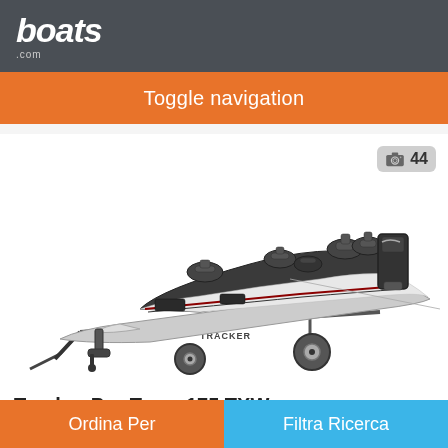boats .com
Toggle navigation
[Figure (photo): Tracker Pro Team 175 TXW bass boat on a trailer, viewed from the side, white and black hull with multiple fishing seats and Mercury outboard motor. Photo count badge shows camera icon and 44.]
Tracker Pro Team 175 TXW
Ronan, Montana, Stati Uniti
Ordina Per   Filtra Ricerca